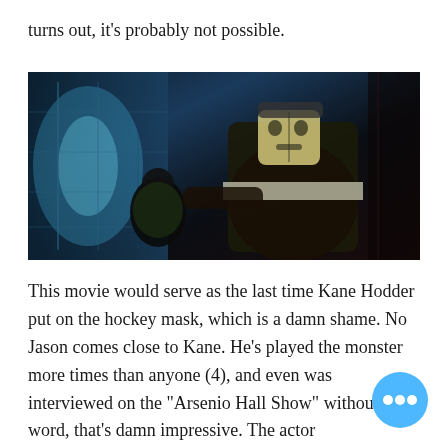turns out, it's probably not possible.
[Figure (photo): A scene from a horror movie showing a large figure wearing a hockey mask (Jason Voorhees) looming over another person in a futuristic or industrial blue-lit corridor.]
This movie would serve as the last time Kane Hodder put on the hockey mask, which is a damn shame. No Jason comes close to Kane. He's played the monster more times than anyone (4), and even was interviewed on the "Arsenio Hall Show" without speaking a word, that's damn impressive. The actor